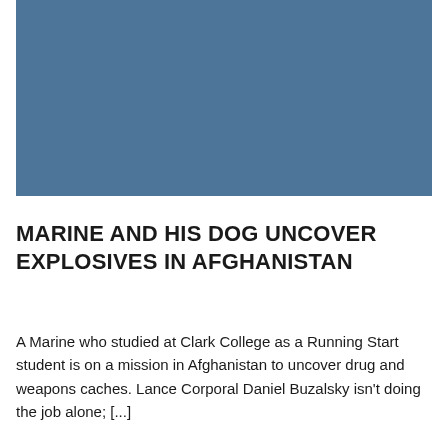[Figure (photo): A solid steel blue/slate colored rectangle representing a photo placeholder image]
MARINE AND HIS DOG UNCOVER EXPLOSIVES IN AFGHANISTAN
A Marine who studied at Clark College as a Running Start student is on a mission in Afghanistan to uncover drug and weapons caches. Lance Corporal Daniel Buzalsky isn't doing the job alone; [...]